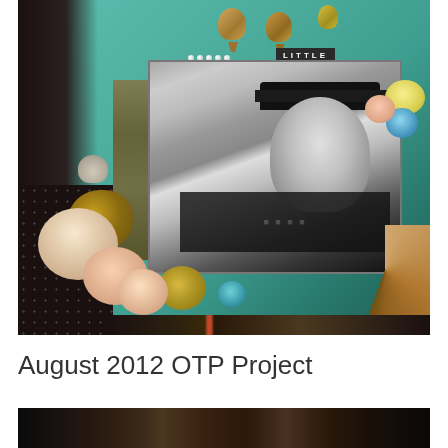[Figure (photo): A scrapbook layout page featuring a black and white photo of a young child wearing a cap, surrounded by decorative paper flowers (gold, cream, peach, teal), hot air balloon embellishments at the top, on a mint/teal patterned background. The word 'LITTLE' appears on a dark label near the top right of the photo.]
August 2012 OTP Project
[Figure (photo): A partially visible photograph at the bottom of the page, showing a dark image cropped at page edge.]